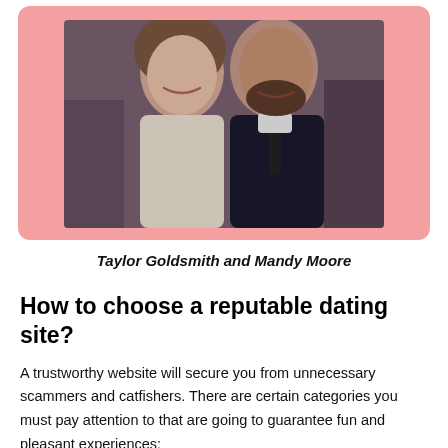[Figure (photo): A couple smiling at a formal event — a woman in a white gown and a bearded man in a dark suit with a tie, seated together against a blurred background.]
Taylor Goldsmith and Mandy Moore
How to choose a reputable dating site?
A trustworthy website will secure you from unnecessary scammers and catfishers. There are certain categories you must pay attention to that are going to guarantee fun and pleasant experiences: